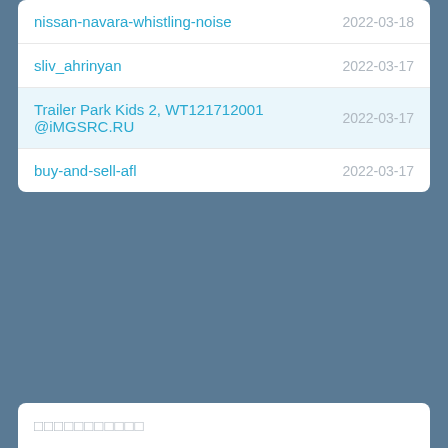nissan-navara-whistling-noise  2022-03-18
sliv_ahrinyan  2022-03-17
Trailer Park Kids 2, WT121712001 @iMGSRC.RU  2022-03-17
buy-and-sell-afl  2022-03-17
□□□□□□□□□□□